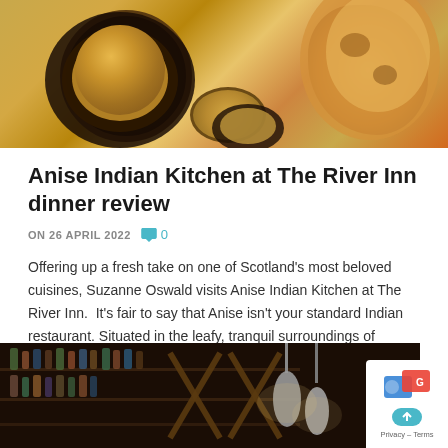[Figure (photo): Top-down photo of Indian food — a dark bowl with curry and a fried item, a smaller bowl with noodles, and flatbread naan, on a wooden surface]
Anise Indian Kitchen at The River Inn dinner review
ON 26 APRIL 2022   0
Offering up a fresh take on one of Scotland's most beloved cuisines, Suzanne Oswald visits Anise Indian Kitchen at The River Inn.  It's fair to say that Anise isn't your standard Indian restaurant. Situated in the leafy, tranquil surroundings of Crosslee, the inviting eatery is a recent addition to the already popular River Inn....
READ MORE
[Figure (photo): Dark interior photo of a bar or restaurant with bottle shelves lit from behind, wooden cross-frame dividers, and pendant concrete lamps hanging from the ceiling]